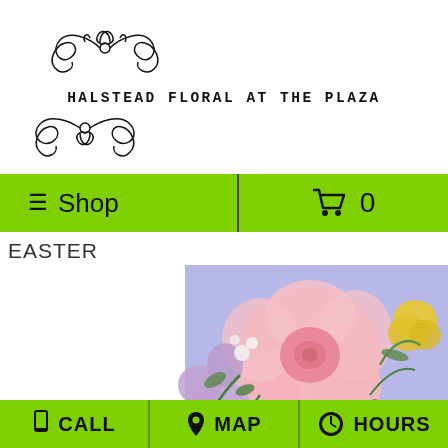[Figure (logo): Ornamental flourish SVG decoration above the shop name]
HALSTEAD FLORAL AT THE PLAZA
[Figure (logo): Ornamental flourish SVG decoration below the shop name]
≡ Shop
🛒 0
EASTER
[Figure (photo): Close-up photo of pink roses, purple/lavender flowers, pink small blooms, yellow flowers, and green foliage against a light blue/lavender background]
📱 CALL   📍 MAP   🕐 HOURS